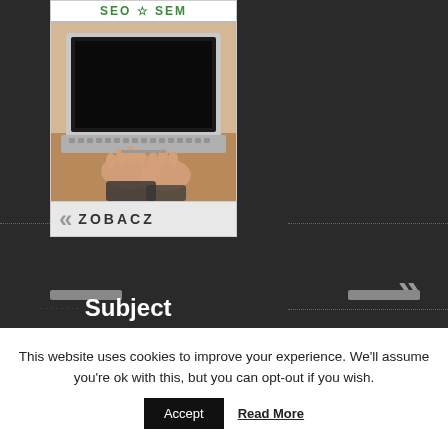[Figure (screenshot): Dark website UI showing a card with SEO SEM header text in green, a photo of hands typing on a laptop keyboard, navigation chevrons on left and right, progress bars, and a 'ZOBACZ' (See/View) button. Subject label text visible at bottom left.]
Subject
This website uses cookies to improve your experience. We'll assume you're ok with this, but you can opt-out if you wish.
Accept  Read More